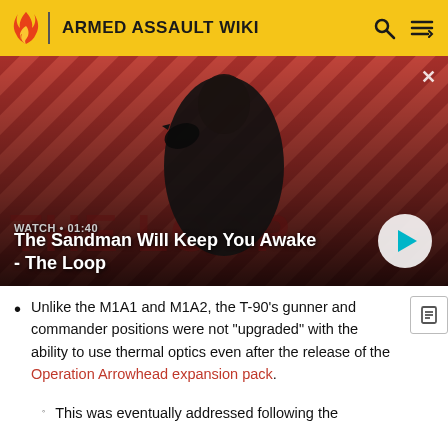ARMED ASSAULT WIKI
[Figure (screenshot): Video thumbnail showing a man in dark clothing with a crow on his shoulder against a red diagonal striped background. Text overlay: 'The Sandman Will Keep You Awake - The Loop', WATCH • 01:40, with a play button.]
Unlike the M1A1 and M1A2, the T-90's gunner and commander positions were not "upgraded" with the ability to use thermal optics even after the release of the Operation Arrowhead expansion pack.
This was eventually addressed following the